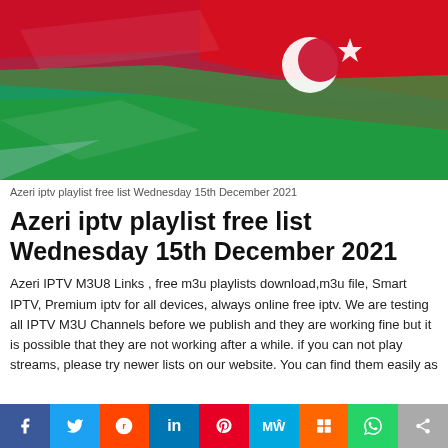[Figure (photo): Azerbaijan flag waving — red, green, and blue horizontal stripes with white crescent moon and star]
Azeri iptv playlist free list Wednesday 15th December 2021
Azeri iptv playlist free list Wednesday 15th December 2021
Azeri IPTV M3U8 Links , free m3u playlists download,m3u file, Smart IPTV, Premium iptv for all devices, always online free iptv. We are testing all IPTV M3U Channels before we publish and they are working fine but it is possible that they are not working after a while. if you can not play streams, please try newer lists on our website. You can find them easily as
f  Twitter  Reddit  in  Pinterest  MW  Mix  WhatsApp  Share